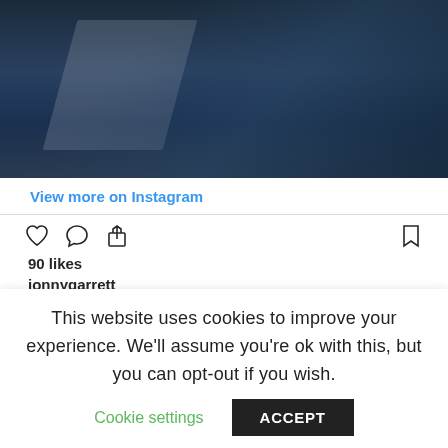[Figure (photo): Partial photo showing a person in a dark blue zip-up jacket, upper body visible, dark blue tones]
View more on Instagram
90 likes
jonnygarrett
Craft dilemma number one. Which do you crack first!? Heady Topper or Focal Banger? #thecraftbeerchannel #beerporn #craftbeer #headytopper #realale #instabeer
view all 12 comments
This website uses cookies to improve your experience. We'll assume you're ok with this, but you can opt-out if you wish.
Cookie settings
ACCEPT